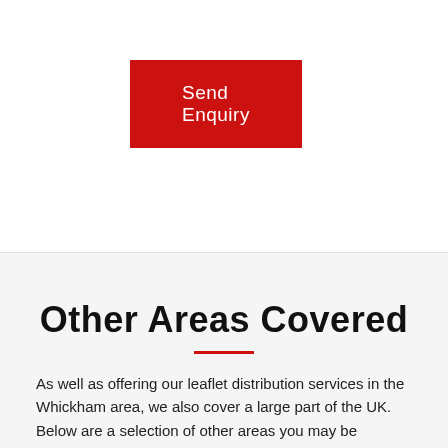[Figure (other): Red 'Send Enquiry' button on white background]
Other Areas Covered
As well as offering our leaflet distribution services in the Whickham area, we also cover a large part of the UK. Below are a selection of other areas you may be